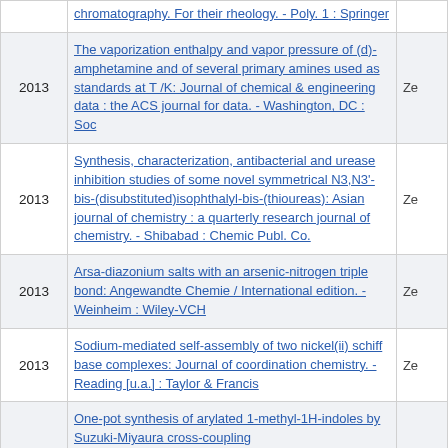| Year | Reference | Ze |
| --- | --- | --- |
|  | chromatography. For their rheology. - Poly. 1 : Springer |  |
| 2013 | The vaporization enthalpy and vapor pressure of (d)-amphetamine and of several primary amines used as standards at T /K: Journal of chemical & engineering data : the ACS journal for data. - Washington, DC : Soc | Ze |
| 2013 | Synthesis, characterization, antibacterial and urease inhibition studies of some novel symmetrical N3,N3'-bis-(disubstituted)isophthalyl-bis-(thioureas): Asian journal of chemistry : a quarterly research journal of chemistry. - Shibabad : Chemic Publ. Co. | Ze |
| 2013 | Arsa-diazonium salts with an arsenic-nitrogen triple bond: Angewandte Chemie / International edition. - Weinheim : Wiley-VCH | Ze |
| 2013 | Sodium-mediated self-assembly of two nickel(ii) schiff base complexes: Journal of coordination chemistry. - Reading [u.a.] : Taylor & Francis | Ze |
|  | One-pot synthesis of arylated 1-methyl-1H-indoles by Suzuki-Miyaura cross-coupling |  |